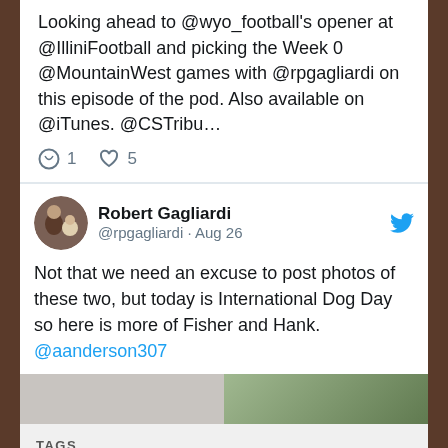Looking ahead to @wyo_football's opener at @IlliniFootball and picking the Week 0 @MountainWest games with @rpgagliardi on this episode of the pod. Also available on @iTunes. @CSTribu…
1  5
Robert Gagliardi @rpgagliardi · Aug 26
Not that we need an excuse to post photos of these two, but today is International Dog Day so here is more of Fisher and Hank. @aanderson307
[Figure (photo): Two photo thumbnails side by side at bottom of tweet]
TAGS
2011 UW football video interviews
Air Force Falcons  Andrew Wingard  Blair Burns